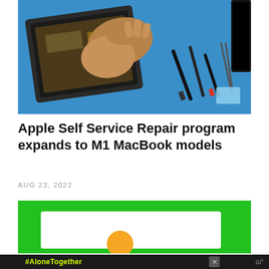[Figure (photo): Person repairing a laptop on a blue surface with various screwdrivers and tools laid out]
Apple Self Service Repair program expands to M1 MacBook models
AUG 23, 2022
[Figure (photo): Green background advertisement with white box and orange circle, person waving]
[Figure (photo): Ad bar with #AloneTogether text on dark background with people image]